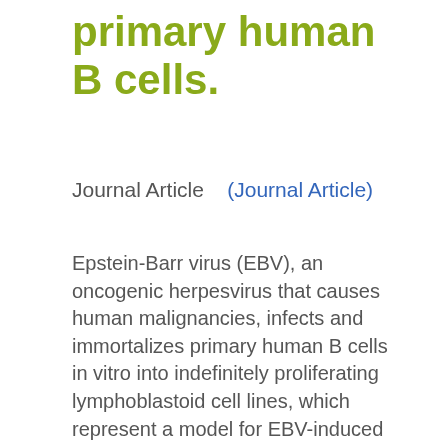primary human B cells.
Journal Article    (Journal Article)
Epstein-Barr virus (EBV), an oncogenic herpesvirus that causes human malignancies, infects and immortalizes primary human B cells in vitro into indefinitely proliferating lymphoblastoid cell lines, which represent a model for EBV-induced tumorigenesis. The immortalization efficiency is very low, suggesting that an innate tumor suppressor mechanism is operative. We identify the DNA damage response (DDR) as a major component of the underlying tumor suppressor mechanism. EBV-induced DDR activation was not due to lytic viral